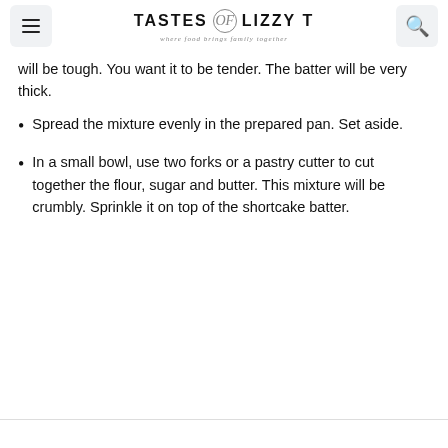TASTES of LIZZY T — where food brings family together
will be tough. You want it to be tender. The batter will be very thick.
Spread the mixture evenly in the prepared pan. Set aside.
In a small bowl, use two forks or a pastry cutter to cut together the flour, sugar and butter. This mixture will be crumbly. Sprinkle it on top of the shortcake batter.